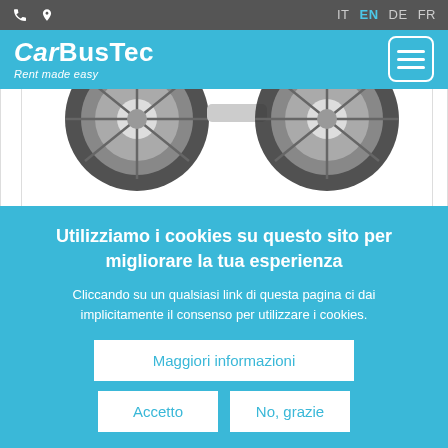CarBusTec - Rent made easy | IT EN DE FR
[Figure (photo): Partial view of a motorcycle or tricycle vehicle showing wheels, on white background]
Utilizziamo i cookies su questo sito per migliorare la tua esperienza
Cliccando su un qualsiasi link di questa pagina ci dai implicitamente il consenso per utilizzare i cookies.
Maggiori informazioni
Accetto
No, grazie